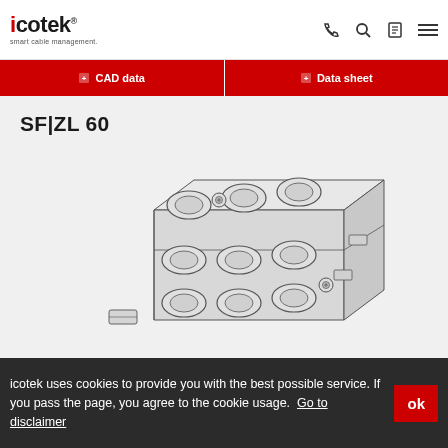icotek — smart cable management. Navigation bar with phone, search, clipboard, and menu icons.
CAD data | Data sheet (buttons)
SF|ZL 60
[Figure (engineering-diagram): Isometric technical illustration of the SF|ZL 60 cable entry frame/grommet system, showing multiple rubber grommets arranged in a grid on a rectangular housing with mounting hardware.]
icotek uses cookies to provide you with the best possible service. If you pass the page, you agree to the cookie usage. Go to disclaimer